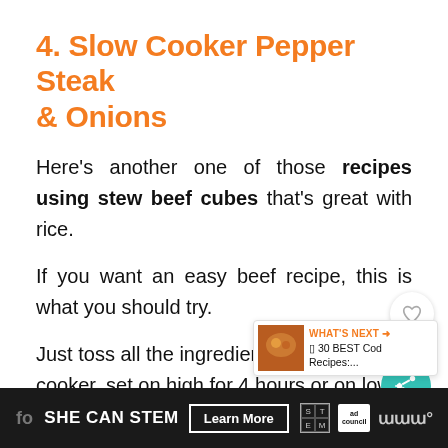4. Slow Cooker Pepper Steak & Onions
Here's another one of those recipes using stew beef cubes that's great with rice.
If you want an easy beef recipe, this is what you should try.
Just toss all the ingredients in a cooker, set on high for 4 hours or on low
fo SHE CAN STEM Learn More